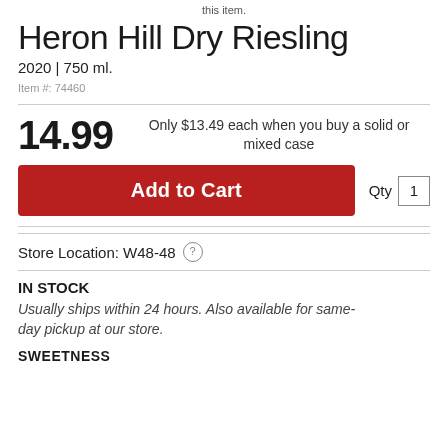this item.
Heron Hill Dry Riesling
2020 | 750 ml.
Item #: 74460
14.99
Only $13.49 each when you buy a solid or mixed case
Add to Cart
Qty 1
Store Location: W48-48 ?
IN STOCK
Usually ships within 24 hours. Also available for same-day pickup at our store.
SWEETNESS